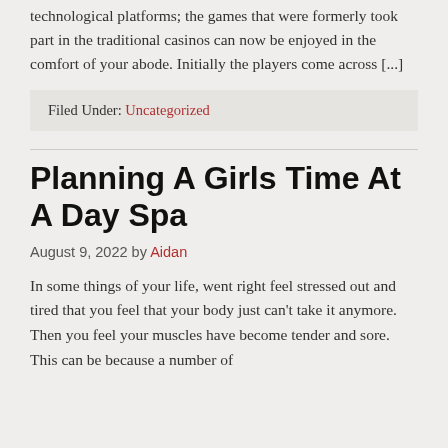technological platforms; the games that were formerly took part in the traditional casinos can now be enjoyed in the comfort of your abode. Initially the players come across [...]
Filed Under: Uncategorized
Planning A Girls Time At A Day Spa
August 9, 2022 by Aidan
In some things of your life, went right feel stressed out and tired that you feel that your body just can't take it anymore. Then you feel your muscles have become tender and sore. This can be because a number of